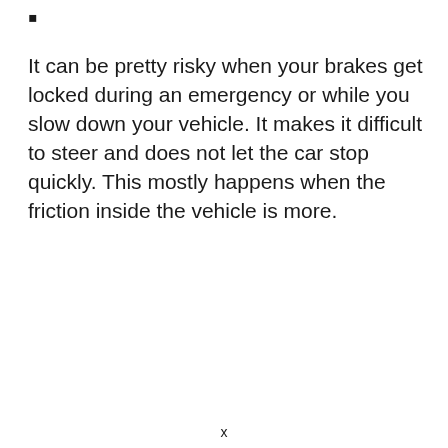It can be pretty risky when your brakes get locked during an emergency or while you slow down your vehicle. It makes it difficult to steer and does not let the car stop quickly. This mostly happens when the friction inside the vehicle is more.
x